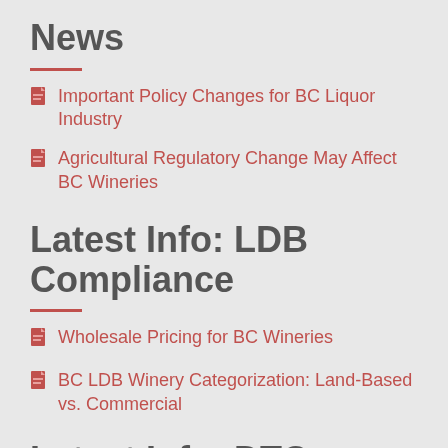News
Important Policy Changes for BC Liquor Industry
Agricultural Regulatory Change May Affect BC Wineries
Latest Info: LDB Compliance
Wholesale Pricing for BC Wineries
BC LDB Winery Categorization: Land-Based vs. Commercial
Latest Info: DTC Shipping